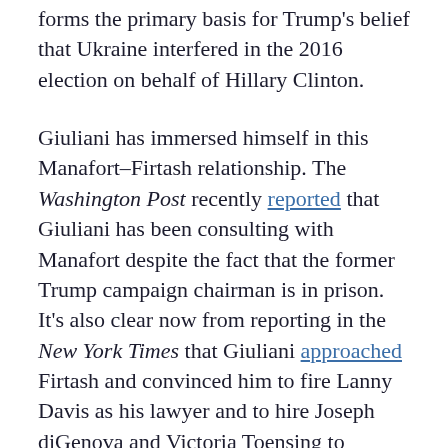forms the primary basis for Trump's belief that Ukraine interfered in the 2016 election on behalf of Hillary Clinton.
Giuliani has immersed himself in this Manafort–Firtash relationship. The Washington Post recently reported that Giuliani has been consulting with Manafort despite the fact that the former Trump campaign chairman is in prison. It's also clear now from reporting in the New York Times that Giuliani approached Firtash and convinced him to fire Lanny Davis as his lawyer and to hire Joseph diGenova and Victoria Toensing to represent him in his fight against extradition.